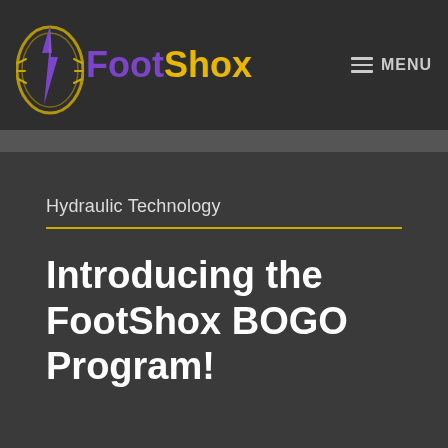FootShox | MENU
Hydraulic Technology
Introducing the FootShox BOGO Program!